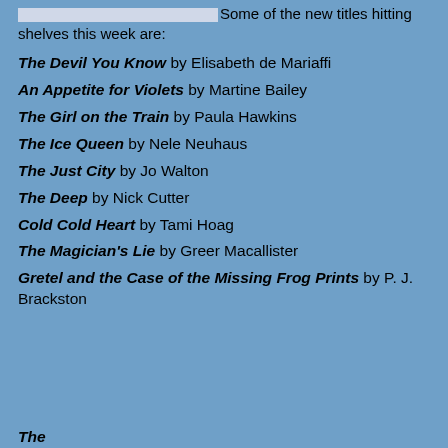Some of the new titles hitting shelves this week are:
The Devil You Know by Elisabeth de Mariaffi
An Appetite for Violets by Martine Bailey
The Girl on the Train by Paula Hawkins
The Ice Queen by Nele Neuhaus
The Just City by Jo Walton
The Deep by Nick Cutter
Cold Cold Heart by Tami Hoag
The Magician's Lie by Greer Macallister
Gretel and the Case of the Missing Frog Prints by P. J. Brackston
The ... (partially visible)